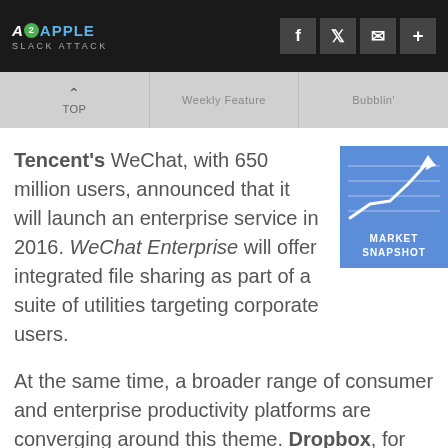A2APPLE SLACK ATTACK
[Figure (infographic): Navigation bar with TOP (up arrow), Weekly Feature, and Bubblin' sections on grey background]
Tencent's WeChat, with 650 million users, announced that it will launch an enterprise service in 2016. WeChat Enterprise will offer integrated file sharing as part of a suite of utilities targeting corporate users.
[Figure (infographic): Market Snapshot widget: blue box with white upward trend line chart and text MARKET SNAPSHOT]
At the same time, a broader range of consumer and enterprise productivity platforms are converging around this theme. Dropbox, for example, which just surpassed 500 million users and 150,000 business customers, is